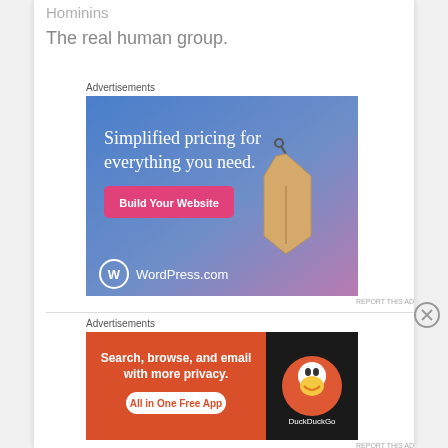Hominins
The real human group.
Advertisements
[Figure (other): WordPress.com advertisement banner: gradient blue-pink background with text 'Simplified pricing for everything you need.' and a pink 'Build Your Website' button and a price tag illustration. WordPress.com logo at bottom left.]
REPORT THIS AD
Advertisements
[Figure (other): DuckDuckGo advertisement banner: red/orange left side with text 'Search, browse, and email with more privacy. All in One Free App' and black right side with DuckDuckGo duck logo.]
REPORT THIS AD